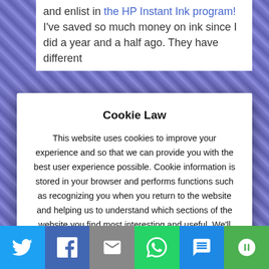and enlist in the HP Instant Ink program! I've saved so much money on ink since I did a year and a half ago. They have different
Cookie Law
This website uses cookies to improve your experience and so that we can provide you with the best user experience possible. Cookie information is stored in your browser and performs functions such as recognizing you when you return to the website and helping us to understand which sections of the website you find most interesting and useful. We'll assume you're ok with this, but you can opt-out if you wish.
Accept  Read More
[Figure (screenshot): Partial view of HP Instant Ink text/logo]
[Figure (infographic): Social sharing bar with Twitter, Facebook, Email, WhatsApp, SMS, and More buttons]